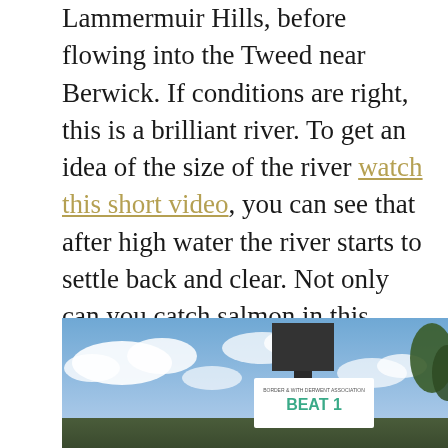Lammermuir Hills, before flowing into the Tweed near Berwick. If conditions are right, this is a brilliant river. To get an idea of the size of the river watch this short video, you can see that after high water the river starts to settle back and clear. Not only can you catch salmon in this river, but excellent there's also excellent sport for brown trout and sea trout fishing too. Your fishing permit covers all three species. This is not a crowded place and its rare to see another angler when fishing here. The photo below shows it in low water level.
[Figure (photo): Outdoor photo showing a blue sky with white clouds and a wooden sign post with a white board reading BEAT 1, with trees visible in the background.]